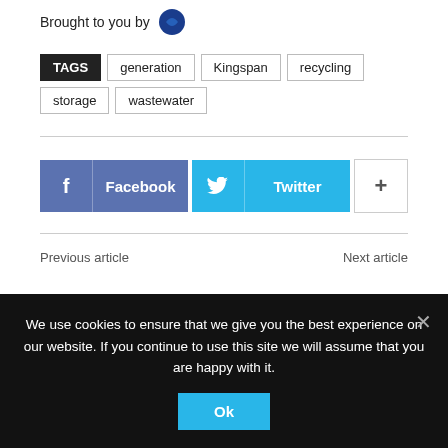Brought to you by
TAGS  generation  Kingspan  recycling  storage  wastewater
Facebook  Twitter  +
Previous article  Next article
We use cookies to ensure that we give you the best experience on our website. If you continue to use this site we will assume that you are happy with it.
Ok